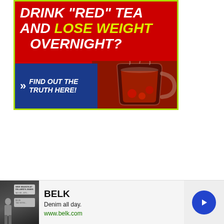[Figure (infographic): Advertisement banner: red background with bold white italic text 'DRINK "RED" TEA AND LOSE WEIGHT OVERNIGHT?' where 'LOSE WEIGHT' is in yellow-green. Bottom left has a blue bar with '>> FIND OUT THE TRUTH HERE!'. Right side shows a photo of a glass cup of red tea. Lime green border around the entire ad.]
[Figure (infographic): Bottom advertisement banner for Belk. Shows a dark thumbnail image on the left with a fashion/denim theme. Center shows 'BELK' in bold, 'Denim all day.' tagline, and 'www.belk.com' in green. Right side has a blue circle arrow button. Top right has an X close button.]